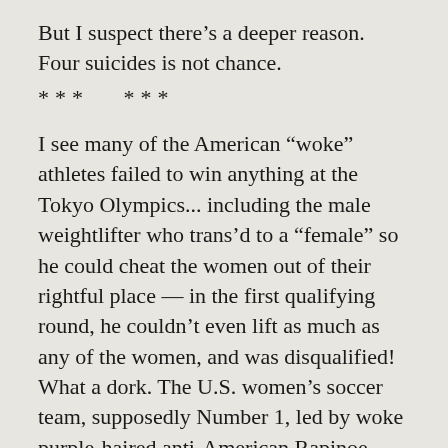But I suspect there's a deeper reason. Four suicides is not chance.
***   ***
I see many of the American “woke” athletes failed to win anything at the Tokyo Olympics... including the male weightlifter who trans’d to a “female” so he could cheat the women out of their rightful place — in the first qualifying round, he couldn’t even lift as much as any of the women, and was disqualified! What a dork. The U.S. women’s soccer team, supposedly Number 1, led by woke purple-haired anti-American Rapinoe, lost to humble Canada. I think there’s a lesson here, that wokism — which condemns competition and considers hard work the mark of an oppressor — just isn’t the philosophy of winners.